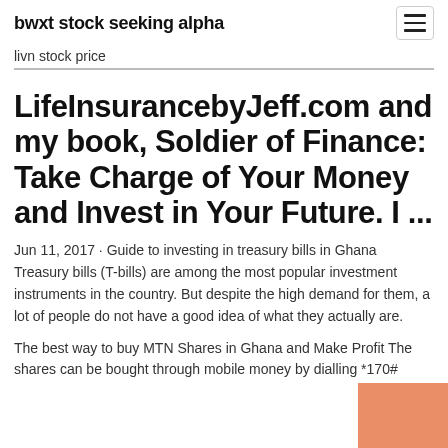bwxt stock seeking alpha
livn stock price
LifeInsurancebyJeff.com and my book, Soldier of Finance: Take Charge of Your Money and Invest in Your Future. I ...
Jun 11, 2017 · Guide to investing in treasury bills in Ghana Treasury bills (T-bills) are among the most popular investment instruments in the country. But despite the high demand for them, a lot of people do not have a good idea of what they actually are.
The best way to buy MTN Shares in Ghana and Make Profit The shares can be bought through mobile money by dialling *170#